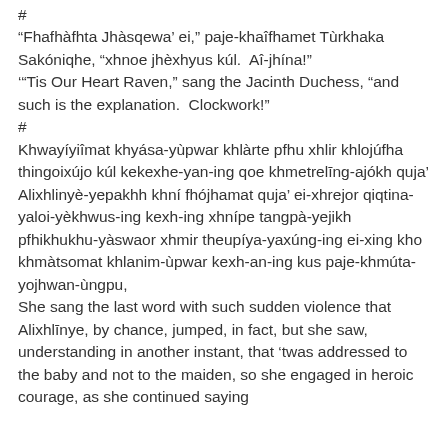#
“Fhafhàfhta Jhàsqewa’ ei,” paje-khaîfhamet Tùrkhaka Sakóniqhe, “xhnoe jhèxhyus kúl.  Aî-jhína!”
‘’Tis Our Heart Raven,” sang the Jacinth Duchess, “and such is the explanation.  Clockwork!”
#
Khwayíyiîmatkhyasa-yùpwar khlàrte pfhu xhlir khlojúfha thingoixújo kúl kekexhe-yan-ing qoe khmetrelīng-ajókh quja’ Alixhlinyè-yepakhh khní fhójhamat quja’ ei-xhrejor qiqtina-yaloi-yèkhwus-ing kexh-ing xhnípe tangpà-yejikh pfhikhukhu-yàswaor xhmir theupíya-yaxúng-ing ei-xing kho khmàtsomat khlanim-ùpwar kexh-an-ing kus paje-khmúta-yojhwan-ùngpu,
She sang the last word with such sudden violence that Alixhlīnye, by chance, jumped, in fact, but she saw, understanding in another instant, that ‘twas addressed to the baby and not to the maiden, so she engaged in heroic courage, as she continued saying